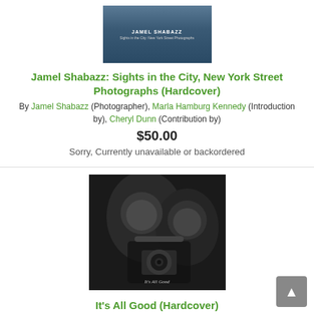[Figure (photo): Book cover thumbnail for Jamel Shabazz: Sights in the City, New York Street Photographs with dark blue/grey tones]
Jamel Shabazz: Sights in the City, New York Street Photographs (Hardcover)
By Jamel Shabazz (Photographer), Marla Hamburg Kennedy (Introduction by), Cheryl Dunn (Contribution by)
$50.00
Sorry, Currently unavailable or backordered
[Figure (photo): Black and white street photograph for the book It's All Good, showing people close-up, one pointing a camera lens toward viewer. Text overlay reads 'It's All Good'.]
It's All Good (Hardcover)
By Boogie (By (photographer))
$39.95
Sorry, Currently unavailable or backordered
ANSEL ADAMS